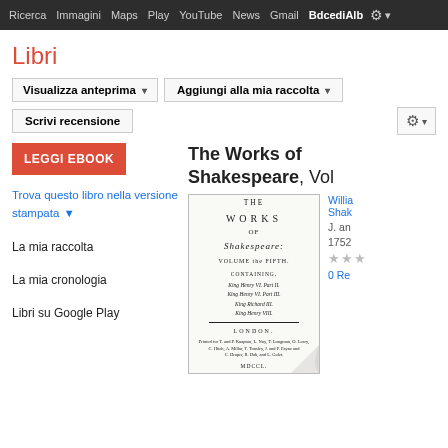Ricerca  Immagini  Maps  Play  YouTube  News  Gmail  BdcediAlb ⚙ ▾
Libri
Visualizza anteprima ▾   Aggiungi alla mia raccolta ▾
Scrivi recensione   ⚙ ▾
LEGGI EBOOK
Trova questo libro nella versione stampata ▼
La mia raccolta
La mia cronologia
Libri su Google Play
The Works of Shakespeare, Vol
[Figure (photo): Book cover of The Works of Shakespeare Volume the Fifth, London 1752, showing title page with publisher information]
William Shak J. and 1752 ★★★ 0 Rec